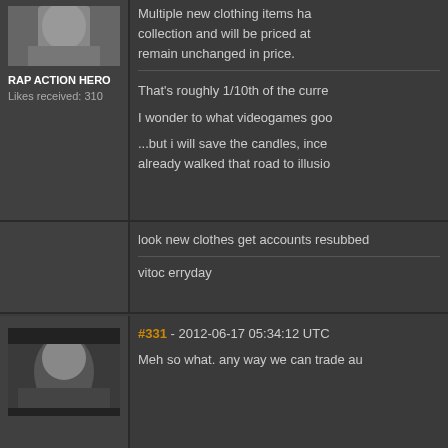[Figure (photo): Avatar photo of user, top portion of face cropped]
RAP ACTION HERO
Likes received: 310
Multiple new clothing items ha... collection and will be priced at... remain unchanged in price.
That's roughly 1/10th of the curre...
I wonder to what videogames goo...
...but i will save the candles, ince... already walked that road to illusio...
look new clothes get accounts resubbed...
vitoc erryday
[Figure (photo): Avatar photo of another user, face with dark lighting]
#331 - 2012-06-17 05:34:12 UTC
Meh so what. any way we can trade au...